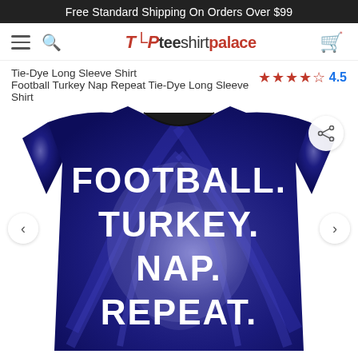Free Standard Shipping On Orders Over $99
[Figure (logo): Tee Shirt Palace navigation bar with hamburger menu, search icon, logo and cart icon]
Tie-Dye Long Sleeve Shirt
Football Turkey Nap Repeat Tie-Dye Long Sleeve Shirt
4.5 stars rating
[Figure (photo): Blue tie-dye long sleeve shirt with white bold text reading FOOTBALL. TURKEY. NAP. REPEAT. on the front]